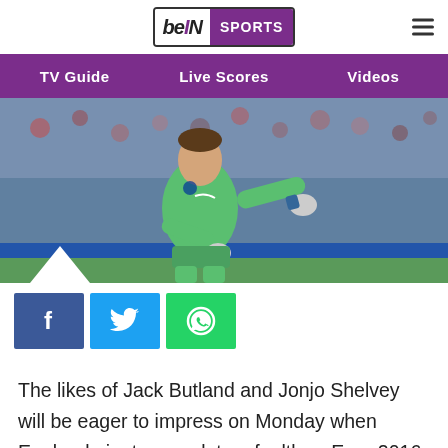beIN SPORTS
TV Guide  Live Scores  Videos
[Figure (photo): Goalkeeper in green kit pointing during a football match, crowd in background]
The likes of Jack Butland and Jonjo Shelvey will be eager to impress on Monday when England aim to complete a faultless Euro 2016 qualifying campaign by securing victory in Lithuania.